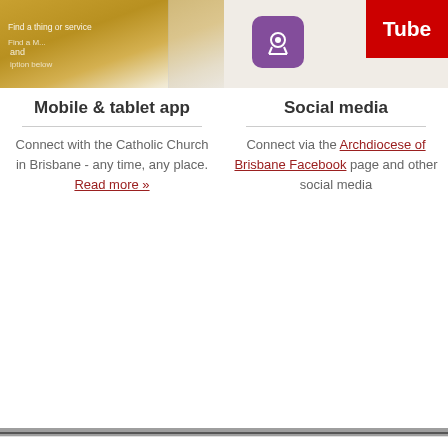[Figure (screenshot): Screenshot of a mobile app interface with golden/yellow background showing text 'Find a thing or service']
[Figure (screenshot): Podcast icon (purple rounded square) and YouTube logo (red) on light background]
Mobile & tablet app
Social media
Connect with the Catholic Church in Brisbane - any time, any place. Read more »
Connect via the Archdiocese of Brisbane Facebook page and other social media
This website stores cookies on your computer. These cookies are used to improve your website experience and provide more personalized services to you, both on this website and through other media. To find out more about the cookies we use, see our Privacy Policy.

If you decline, your information won't be tracked when you visit this website. A single cookie will be used in your browser to remember your preference not to be tracked.
Accept
Decline